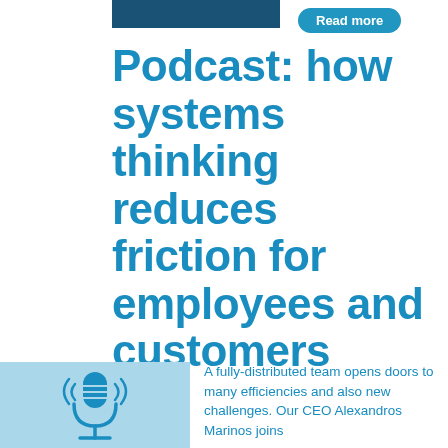[Figure (other): Dark blue horizontal bar at top]
Read more
Podcast: how systems thinking reduces friction for employees and customers
[Figure (illustration): Light blue square with a blue microphone icon illustration]
A fully-distributed team opens doors to many efficiencies and also new challenges. Our CEO Alexandros Marinos joins